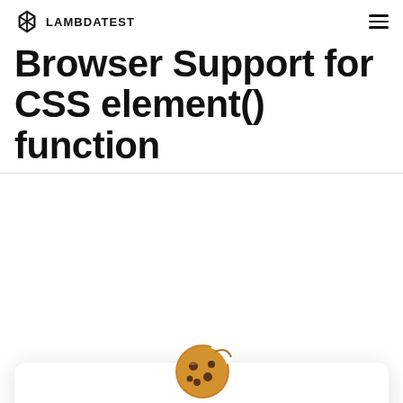LAMBDATEST
Browser Support for CSS element() function
[Figure (illustration): Cookie emoji illustration (a brown cookie with chocolate chip bites taken out)]
We use cookies to give you the best experience. Cookies help to provide a more personalized experience and relevant advertising for you, and web analytics for us. Learn More in our Cookies policy, Privacy & Terms of service
Allow Cookie | Cancel